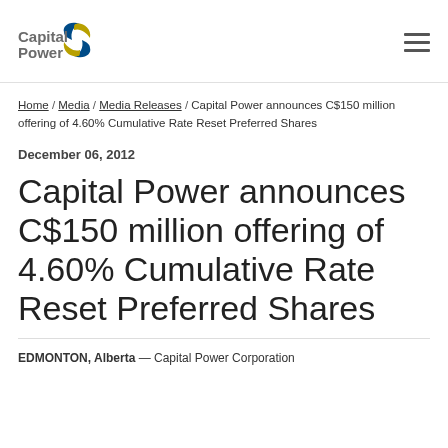[Figure (logo): Capital Power logo with stylized blue and yellow swoosh icon and gray text]
Home / Media / Media Releases / Capital Power announces C$150 million offering of 4.60% Cumulative Rate Reset Preferred Shares
December 06, 2012
Capital Power announces C$150 million offering of 4.60% Cumulative Rate Reset Preferred Shares
EDMONTON, Alberta — Capital Power Corporation